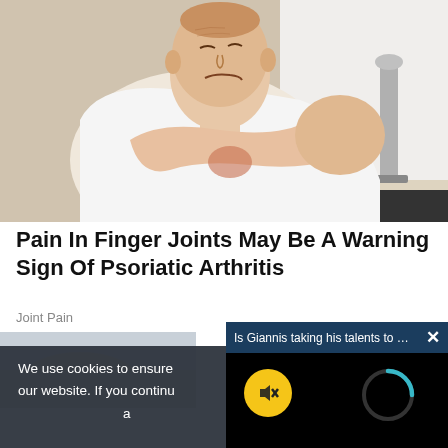[Figure (photo): Older man in white t-shirt grimacing and holding his shoulder/elbow area, suggesting joint pain. Background is a light room.]
Pain In Finger Joints May Be A Warning Sign Of Psoriatic Arthritis
Joint Pain
[Figure (screenshot): Partial view of a second article with a person's arm visible, overlaid by cookie consent banner and a video popup.]
We use cookies to ensure our website. If you continu a
Is Giannis taking his talents to Chicago'...  ×